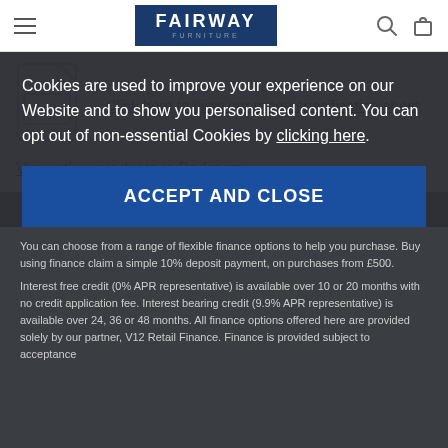Fairway Furniture — navigation bar with hamburger menu, logo, search and bag icons
[Figure (illustration): PDF file icon (grey document with folded corner and 'PDF' label)]
Click here to view our range specification sheet
View other products in Bedroom »
FLEXIBLE FINANCE OPTIONS
You can choose from a range of flexible finance options to help you purchase. Buy using finance claim a simple 10% deposit payment, on purchases from £500.
Interest free credit (0% APR representative) is available over 10 or 20 months with no credit application fee. Interest bearing credit (9.9% APR representative) is available over 24, 36 or 48 months. All finance options offered here are provided solely by our partner, V12 Retail Finance. Finance is provided subject to acceptance
Cookies are used to improve your experience on our Website and to show you personalised content. You can opt out of non-essential Cookies by clicking here.
ACCEPT AND CLOSE